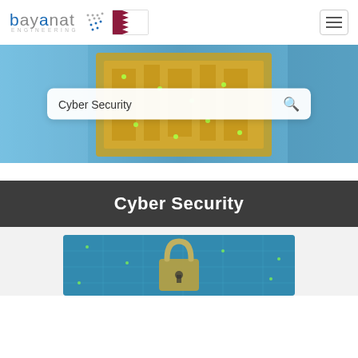[Figure (logo): Bayanat Engineering logo with blue and grey text, dot grid graphic, Qatar flag, and hamburger menu icon]
[Figure (photo): Hero banner showing a glowing green circuit board on a blue digital background with a search bar overlay reading 'Cyber Security']
Cyber Security
[Figure (photo): Cyber security image showing a metallic padlock on a blue digital circuit board background]